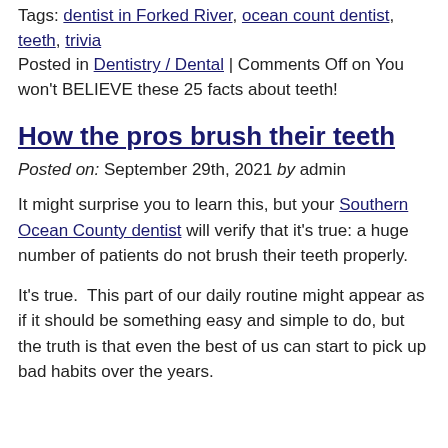Tags: dentist in Forked River, ocean count dentist, teeth, trivia
Posted in Dentistry / Dental | Comments Off on You won't BELIEVE these 25 facts about teeth!
How the pros brush their teeth
Posted on: September 29th, 2021 by admin
It might surprise you to learn this, but your Southern Ocean County dentist will verify that it's true: a huge number of patients do not brush their teeth properly.
It's true.  This part of our daily routine might appear as if it should be something easy and simple to do, but the truth is that even the best of us can start to pick up bad habits over the years.